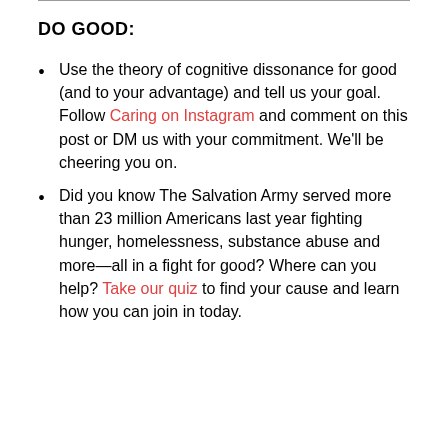DO GOOD:
Use the theory of cognitive dissonance for good (and to your advantage) and tell us your goal. Follow Caring on Instagram and comment on this post or DM us with your commitment. We'll be cheering you on.
Did you know The Salvation Army served more than 23 million Americans last year fighting hunger, homelessness, substance abuse and more—all in a fight for good? Where can you help? Take our quiz to find your cause and learn how you can join in today.